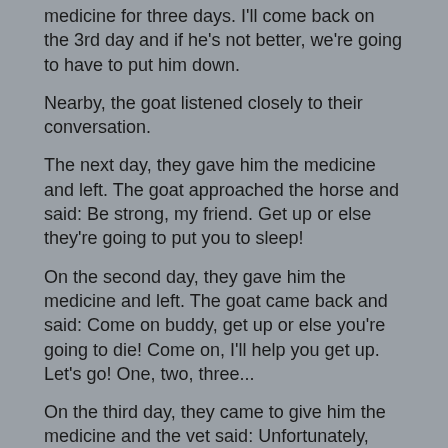medicine for three days. I'll come back on the 3rd day and if he's not better, we're going to have to put him down.
Nearby, the goat listened closely to their conversation.
The next day, they gave him the medicine and left. The goat approached the horse and said: Be strong, my friend. Get up or else they're going to put you to sleep!
On the second day, they gave him the medicine and left. The goat came back and said: Come on buddy, get up or else you're going to die! Come on, I'll help you get up. Let's go! One, two, three...
On the third day, they came to give him the medicine and the vet said: Unfortunately, we're going to have to put him down tomorrow. Otherwise, the virus might spread and infect the other horses.
After they left, the goat approached the horse and said: Listen pal, it's now or never! Get up, come on! Have courage! Come on! Get up! Get up! That's it, slowly! Great! Come on, one more time. Good, good! Now, fast...